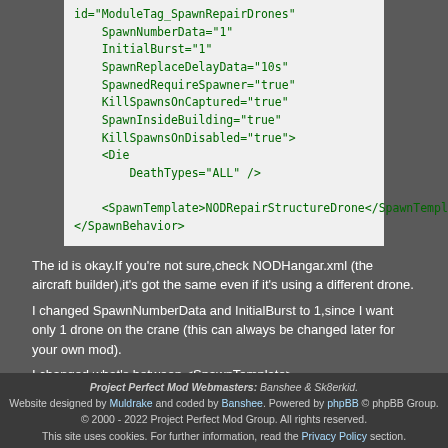[Figure (screenshot): Code block showing XML SpawnBehavior configuration with green monospace text on white background]
The id is okay.If you're not sure,check NODHangar.xml (the aircraft builder),it's got the same even if it's using a different drone.
I changed SpawnNumberData and InitialBurst to 1,since I want only 1 drone on the crane (this can always be changed later for your own mod).
I changed what's between <SpawnTemplate></SpawnTemplate>,because we want the Crane to spawn our drone,not the vehicle repair drone.
The rest was OK and kept.

That's it for this chapter,because the AssignSlavesTargetObjectSpecialPower you can see in NODDropZone,that is obviously (or not?) related to drones,is covered in the next chapter.
Project Perfect Mod Webmasters: Banshee & Sk8erkid. Website designed by Muldrake and coded by Banshee. Powered by phpBB © phpBB Group. © 2000 - 2022 Project Perfect Mod Group. All rights reserved. This site uses cookies. For further information, read the Privacy Policy section.